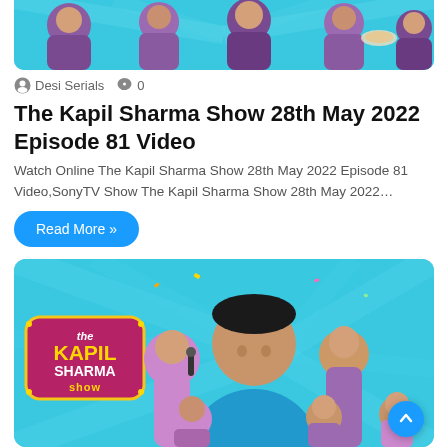[Figure (photo): Top portion of The Kapil Sharma Show promotional image showing cast members in purple outfits on teal background]
Desi Serials  0
The Kapil Sharma Show 28th May 2022 Episode 81 Video
Watch Online The Kapil Sharma Show 28th May 2022 Episode 81 Video,SonyTV Show The Kapil Sharma Show 28th May 2022…
Read More »
[Figure (photo): The Kapil Sharma Show promotional poster with cast members on teal background with The Kapil Sharma Show logo on the left]